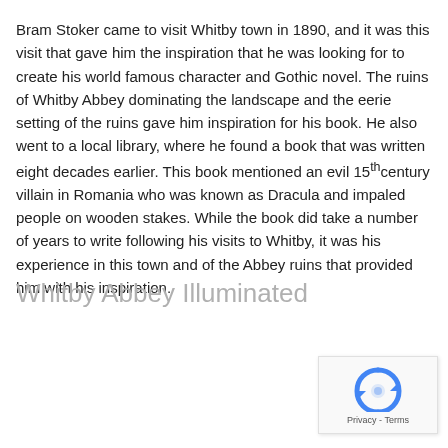Bram Stoker came to visit Whitby town in 1890, and it was this visit that gave him the inspiration that he was looking for to create his world famous character and Gothic novel. The ruins of Whitby Abbey dominating the landscape and the eerie setting of the ruins gave him inspiration for his book. He also went to a local library, where he found a book that was written eight decades earlier. This book mentioned an evil 15th century villain in Romania who was known as Dracula and impaled people on wooden stakes. While the book did take a number of years to write following his visits to Whitby, it was his experience in this town and of the Abbey ruins that provided him with his inspiration.
Whitby Abbey Illuminated
[Figure (other): reCAPTCHA widget with rotating arrows icon and Privacy - Terms text]